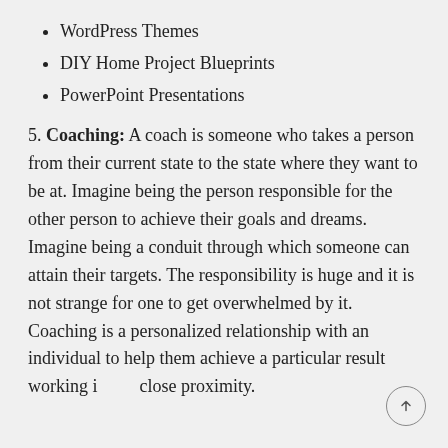WordPress Themes
DIY Home Project Blueprints
PowerPoint Presentations
5. Coaching: A coach is someone who takes a person from their current state to the state where they want to be at. Imagine being the person responsible for the other person to achieve their goals and dreams. Imagine being a conduit through which someone can attain their targets. The responsibility is huge and it is not strange for one to get overwhelmed by it. Coaching is a personalized relationship with an individual to help them achieve a particular result working in close proximity.